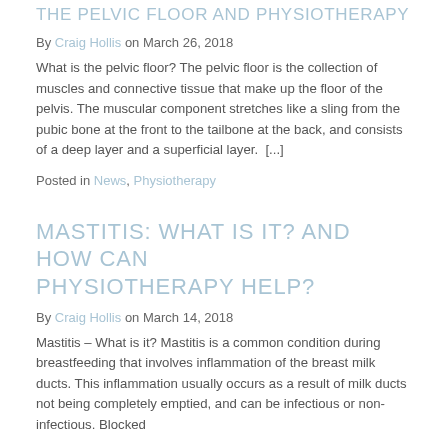THE PELVIC FLOOR AND PHYSIOTHERAPY
By Craig Hollis on March 26, 2018
What is the pelvic floor? The pelvic floor is the collection of muscles and connective tissue that make up the floor of the pelvis. The muscular component stretches like a sling from the pubic bone at the front to the tailbone at the back, and consists of a deep layer and a superficial layer.  [...]
Posted in News, Physiotherapy
MASTITIS: WHAT IS IT? AND HOW CAN PHYSIOTHERAPY HELP?
By Craig Hollis on March 14, 2018
Mastitis – What is it? Mastitis is a common condition during breastfeeding that involves inflammation of the breast milk ducts. This inflammation usually occurs as a result of milk ducts not being completely emptied, and can be infectious or non-infectious. Blocked